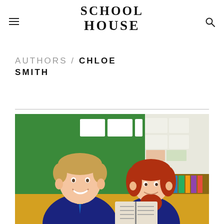SCHOOL HOUSE
AUTHORS / CHLOE SMITH
[Figure (photo): Two primary school children sitting in a colorful classroom. A smiling blond boy in school uniform (navy jacket, striped tie) is in the foreground, and a red-haired girl holding an open book is beside him. Bright green and yellow walls with classroom displays are visible in the background.]